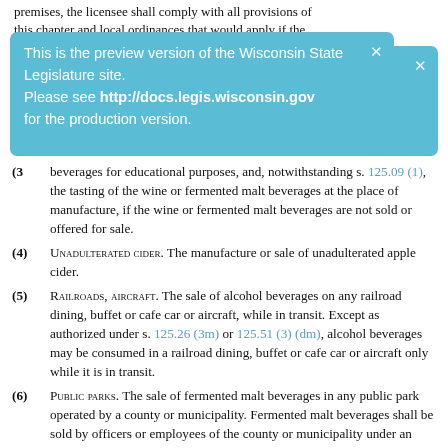premises, the licensee shall comply with all provisions of this chapter and local ordinances that would apply if the
[Figure (infographic): Blue preview banner overlay: 'This is the preview version of the Wisconsin State Legislature site. Please see http://docs.legis.wisconsin.gov for the production version.' with an X close button.]
(3) beverages for educational purposes, and, notwithstanding s. 125.09 (1), the tasting of the wine or fermented malt beverages at the place of manufacture, if the wine or fermented malt beverages are not sold or offered for sale.
(4) Unadulterated cider. The manufacture or sale of unadulterated apple cider.
(5) Railroads, aircraft. The sale of alcohol beverages on any railroad dining, buffet or cafe car or aircraft, while in transit. Except as authorized under s. 125.26 (3m) or 125.51 (3) (dm), alcohol beverages may be consumed in a railroad dining, buffet or cafe car or aircraft only while it is in transit.
(6) Public parks. The sale of fermented malt beverages in any public park operated by a county or municipality. Fermented malt beverages shall be sold by officers or employees of the county or municipality under an ordinance, resolution, rule or regulation enacted by the governing body.
(7) Judicial, personal representative's, guardian's, receiver's or trustee's sale. The sale of alcohol beverages at any judicial, personal representative's or guardian's sale or any sale by a